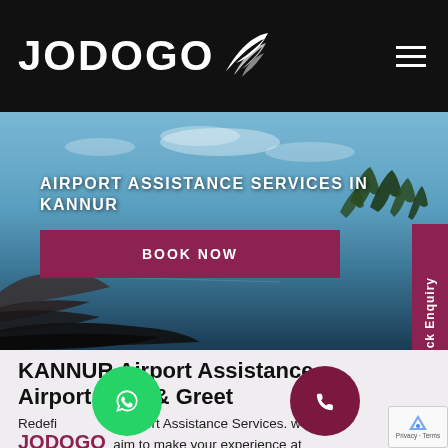[Figure (logo): JODOGO logo with wing icon on black background, with hamburger menu icon on the right]
[Figure (photo): Hero banner with scenic coastal/backwater image of Kannur with text 'AIRPORT ASSISTANCE SERVICES IN KANNUR' and a 'BOOK NOW' button in maroon. A 'Quick Enquiry' vertical tab appears on the right side.]
KANNUR Airport Assistance - Airport Meet & Greet
Redefining Airport Assistance Services, we at JODOGO aim to make your experience at Kannur Airport smooth, hassle-free and one worth